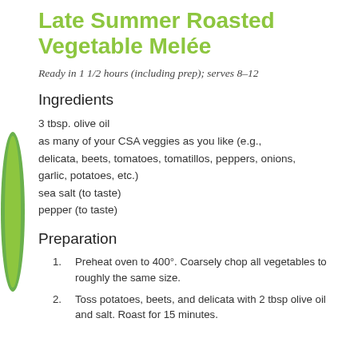Late Summer Roasted Vegetable Melée
Ready in 1 1/2 hours (including prep); serves 8–12
Ingredients
3 tbsp. olive oil
as many of your CSA veggies as you like (e.g., delicata, beets, tomatoes, tomatillos, peppers, onions, garlic, potatoes, etc.)
sea salt (to taste)
pepper (to taste)
Preparation
Preheat oven to 400°. Coarsely chop all vegetables to roughly the same size.
Toss potatoes, beets, and delicata with 2 tbsp olive oil and salt. Roast for 15 minutes.